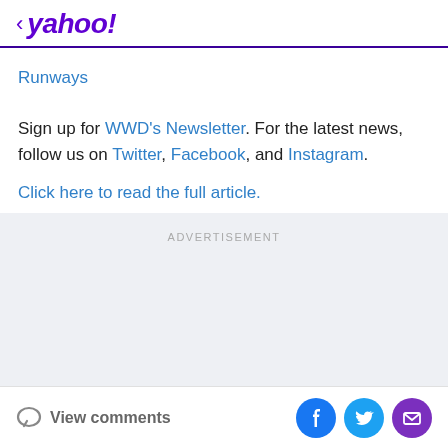< yahoo!
Runways
Sign up for WWD's Newsletter. For the latest news, follow us on Twitter, Facebook, and Instagram.
Click here to read the full article.
ADVERTISEMENT
View comments